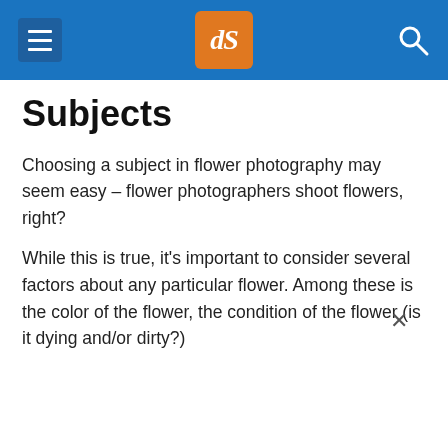dPS (digital Photography School) header with hamburger menu, logo, and search icon
Subjects
Choosing a subject in flower photography may seem easy – flower photographers shoot flowers, right?
While this is true, it's important to consider several factors about any particular flower. Among these is the color of the flower, the condition of the flower (is it dying and/or dirty?)